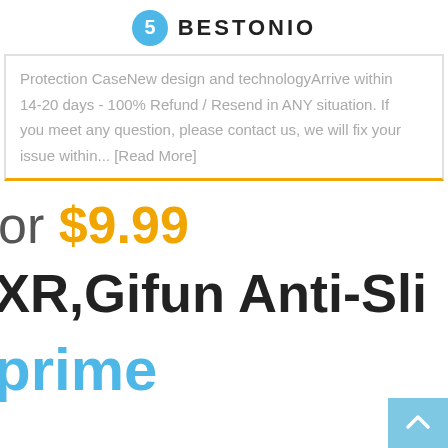BESTONIO
Protection CaseNew design and technologyArrive within 14-20 days - 100% Refund / Resend in ANY situation. If you meet any question, please contact us, we will fix your issue within... [Read More]
or $9.99
XR,Gifun Anti-Sli
prime